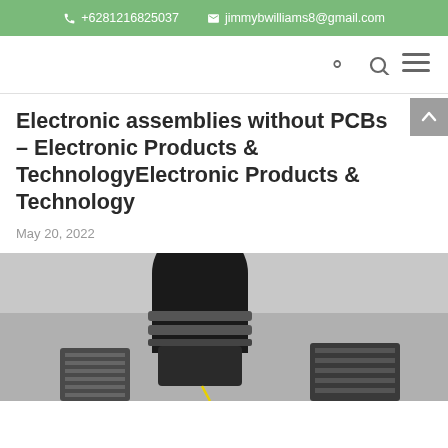+6281216825037   jimmybwilliams8@gmail.com
Electronic assemblies without PCBs – Electronic Products & TechnologyElectronic Products & Technology
May 20, 2022
[Figure (photo): Photo of electronic assembly components — dark cylindrical connectors and cable assemblies on a light background]